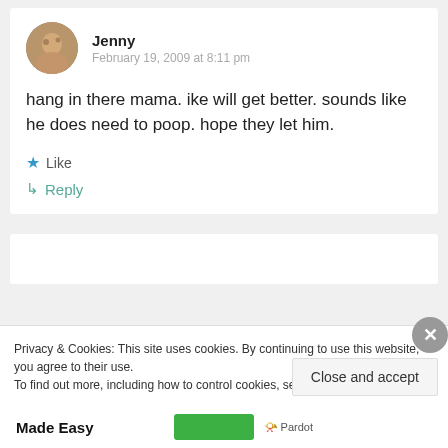[Figure (photo): Circular avatar photo of a person (Jenny)]
Jenny
February 19, 2009 at 8:11 pm
hang in there mama. ike will get better. sounds like he does need to poop. hope they let him.
Like
Reply
Privacy & Cookies: This site uses cookies. By continuing to use this website, you agree to their use.
To find out more, including how to control cookies, see here: Cookie Policy
Close and accept
Made Easy